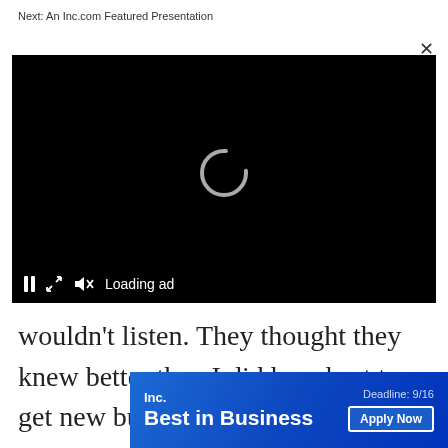Next: An Inc.com Featured Presentation
[Figure (screenshot): Video player with black background, loading spinner, pause button, expand icon, muted speaker icon, and 'Loading ad' text]
wouldn't listen. They thought they knew better than I did how best to get new busi
[Figure (other): Inc. Best in Business advertisement banner: 'Deadline: 9/16' and 'Apply Now' button]